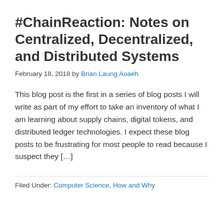#ChainReaction: Notes on Centralized, Decentralized, and Distributed Systems
February 18, 2018 by Brian Laung Aoaeh
This blog post is the first in a series of blog posts I will write as part of my effort to take an inventory of what I am learning about supply chains, digital tokens, and distributed ledger technologies. I expect these blog posts to be frustrating for most people to read because I suspect they […]
Filed Under: Computer Science, How and Why